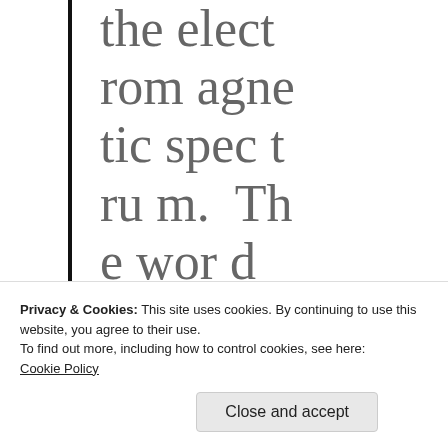the electromagnetic spectrum. The word
Privacy & Cookies: This site uses cookies. By continuing to use this website, you agree to their use.
To find out more, including how to control cookies, see here:
Cookie Policy
Close and accept